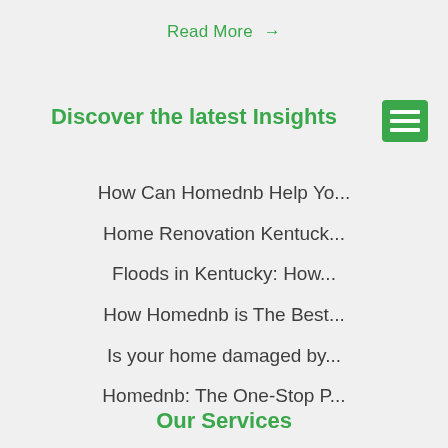Read More →
[Figure (other): Green hamburger menu icon with three white horizontal lines on green background]
Discover the latest Insights
How Can Homednb Help Yo...
Home Renovation Kentuck...
Floods in Kentucky: How...
How Homednb is The Best...
Is your home damaged by...
Homednb: The One-Stop P...
Our Services